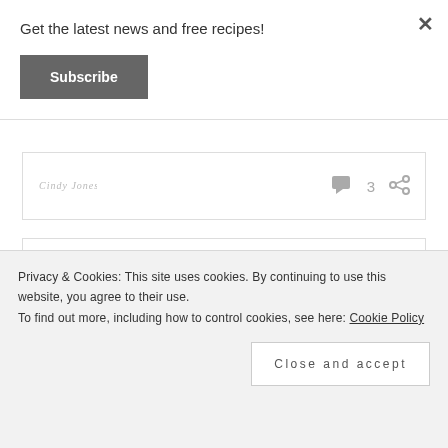Get the latest news and free recipes!
Subscribe
×
[Figure (illustration): Cursive/script signature graphic in light gray]
3
Pumpkin Pancakes
[Figure (photo): Photo of pumpkin pancakes on a plate with a pat of butter]
Pumpkin pancakes are the definition of a brisk Fall
Privacy & Cookies: This site uses cookies. By continuing to use this website, you agree to their use.
To find out more, including how to control cookies, see here: Cookie Policy
Close and accept
cook something with pumpkin!". Thankfully the coffee